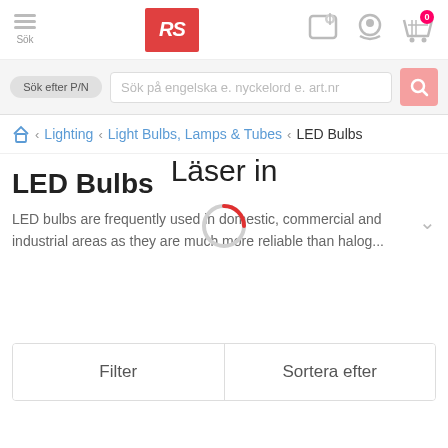[Figure (screenshot): RS Components website header with hamburger menu, RS logo, and icons for store locator, account, and shopping cart]
[Figure (screenshot): Search bar with P/N toggle and search input field with placeholder text 'Sök på engelska e. nyckelord e. art.nr']
Lighting > Light Bulbs, Lamps & Tubes > LED Bulbs
LED Bulbs
Läser in
LED bulbs are frequently used in domestic, commercial and industrial areas as they are much more reliable than halog...
[Figure (other): Loading spinner with red arc on grey circle]
Filter
Sortera efter